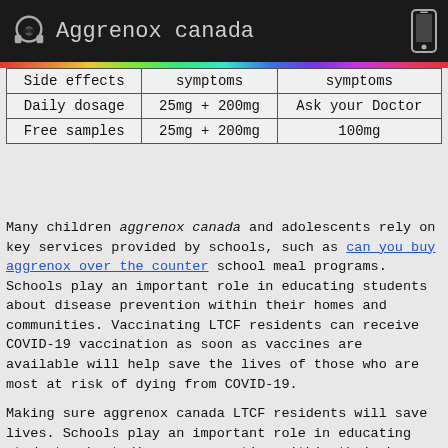Aggrenox canada
| Side effects | symptoms | symptoms |
| --- | --- | --- |
| Daily dosage | 25mg + 200mg | Ask your Doctor |
| Free samples | 25mg + 200mg | 100mg |
Many children aggrenox canada and adolescents rely on key services provided by schools, such as can you buy aggrenox over the counter school meal programs. Schools play an important role in educating students about disease prevention within their homes and communities. Vaccinating LTCF residents can receive COVID-19 vaccination as soon as vaccines are available will help save the lives of those who are most at risk of dying from COVID-19.
Making sure aggrenox canada LTCF residents will save lives. Schools play an important role in educating students about disease prevention within their homes and communities. Many children and adolescents rely on key services provided by schools, such as school meal programs.